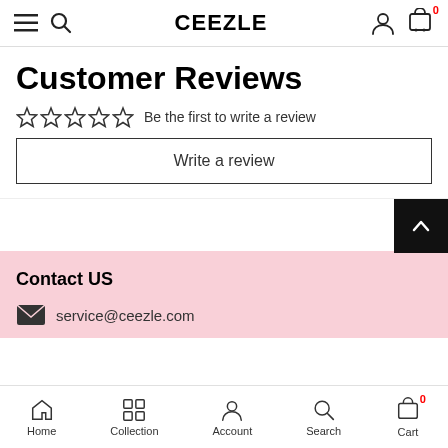CEEZLE
Customer Reviews
Be the first to write a review
Write a review
Contact US
service@ceezle.com
Home  Collection  Account  Search  Cart